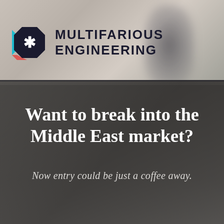[Figure (logo): Multifarious Engineering logo: dark octagon with white asterisk, multicolored border accents (teal, red), followed by company name in bold uppercase dark text]
[Figure (photo): Blurred background photo of an office or corridor scene, with a blurred human figure silhouette visible in the upper right, muted gray-brown tones]
Want to break into the Middle East market?
Now entry could be just a coffee away.